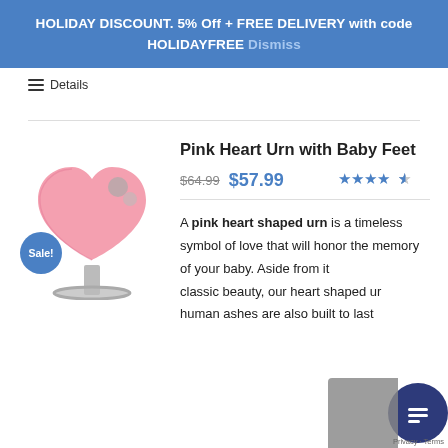HOLIDAY DISCOUNT. 5% Off + FREE DELIVERY with code HOLIDAYFREE Dismiss
☰ Details
Pink Heart Urn with Baby Feet
$64.99  $57.99  ★★★★★
A pink heart shaped urn is a timeless symbol of love that will honor the memory of your baby. Aside from its classic beauty, our heart shaped ur... human ashes are also built to last...
[Figure (photo): Pink heart-shaped memorial urn on a silver stand, with a Sale! badge overlay in blue]